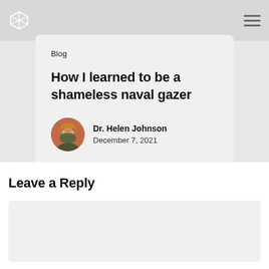Blog
How I learned to be a shameless naval gazer
[Figure (photo): Circular avatar photo of Dr. Helen Johnson, a woman with blonde hair smiling, in front of a brick wall background]
Dr. Helen Johnson
December 7, 2021
Leave a Reply